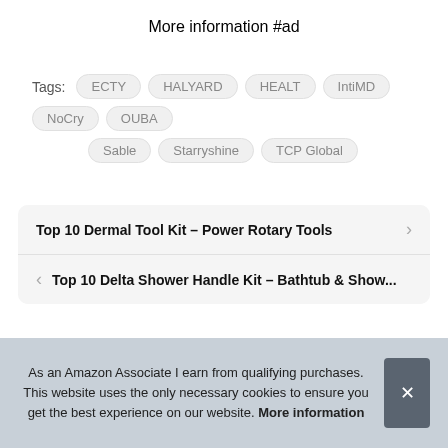More information #ad
Tags: ECTY HALYARD HEALT IntiMD NoCry OUBA Sable Starryshine TCP Global
Top 10 Dermal Tool Kit – Power Rotary Tools
Top 10 Delta Shower Handle Kit – Bathtub & Show...
As an Amazon Associate I earn from qualifying purchases. This website uses the only necessary cookies to ensure you get the best experience on our website. More information